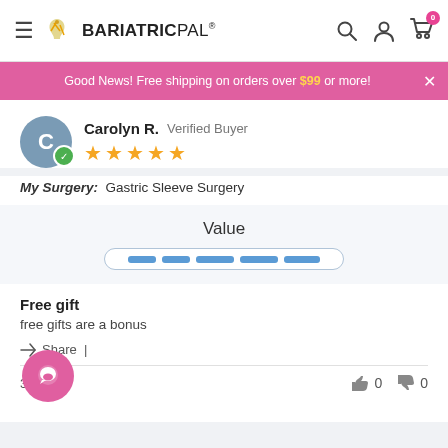BariatricPal
Good News! Free shipping on orders over $99 or more!
Carolyn R. Verified Buyer ★★★★★
My Surgery: Gastric Sleeve Surgery
Value
Free gift
free gifts are a bonus
Share |
3/21    👍 0   👎 0